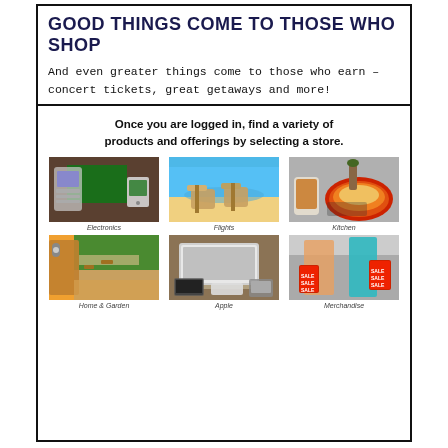GOOD THINGS COME TO THOSE WHO SHOP
And even greater things come to those who earn – concert tickets, great getaways and more!
Once you are logged in, find a variety of products and offerings by selecting a store.
[Figure (photo): Person holding smartphone in front of TV screen]
Electronics
[Figure (photo): Couple sitting in beach chairs on a tropical beach]
Flights
[Figure (photo): Hands cooking food in a pan with tablet visible]
Kitchen
[Figure (photo): Garden pathway and lush greenery with door handle]
Home & Garden
[Figure (photo): Laptop, tablet, keyboard, phone and accessories on desk]
Apple
[Figure (photo): Two women shopping holding SALE bags]
Merchandise